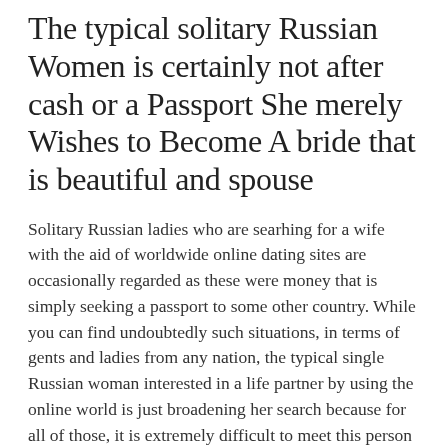The typical solitary Russian Women is certainly not after cash or a Passport She merely Wishes to Become A bride that is beautiful and spouse
Solitary Russian ladies who are searhing for a wife with the aid of worldwide online dating sites are occasionally regarded as these were money that is simply seeking a passport to some other country. While you can find undoubtedly such situations, in terms of gents and ladies from any nation, the typical single Russian woman interested in a life partner by using the online world is just broadening her search because for all of those, it is extremely difficult to meet this person in their own personal...